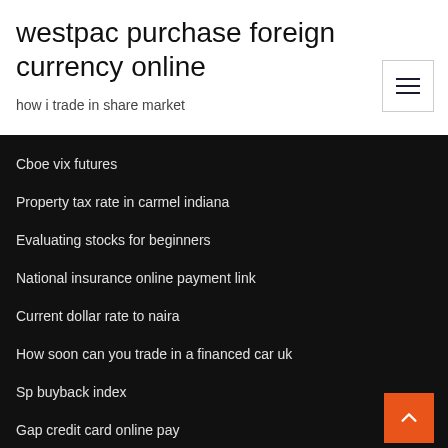westpac purchase foreign currency online
how i trade in share market
Cboe vix futures
Property tax rate in carmel indiana
Evaluating stocks for beginners
National insurance online payment link
Current dollar rate to naira
How soon can you trade in a financed car uk
Sp buyback index
Gap credit card online pay